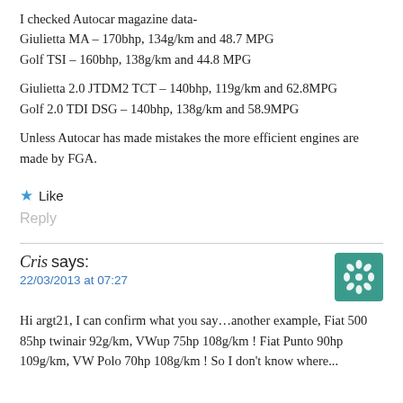I checked Autocar magazine data-
Giulietta MA – 170bhp, 134g/km and 48.7 MPG
Golf TSI – 160bhp, 138g/km and 44.8 MPG
Giulietta 2.0 JTDM2 TCT – 140bhp, 119g/km and 62.8MPG
Golf 2.0 TDI DSG – 140bhp, 138g/km and 58.9MPG
Unless Autocar has made mistakes the more efficient engines are made by FGA.
★ Like
Reply
Cris says:
22/03/2013 at 07:27
Hi argt21, I can confirm what you say…another example, Fiat 500 85hp twinair 92g/km, VWup 75hp 108g/km ! Fiat Punto 90hp 109g/km, VW Polo 70hp 108g/km ! So I don't know where...